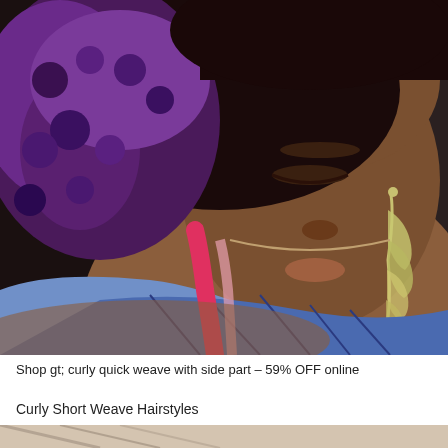[Figure (photo): Close-up photo of a Black woman with short curly purple-black hair, dangling feather earrings, wearing a colorful patterned top with pink and blue designs, looking downward.]
Shop gt; curly quick weave with side part – 59% OFF online
Curly Short Weave Hairstyles
[Figure (photo): Partial preview of another hairstyle photo at the bottom of the page, showing a light beige/tan background with diagonal dark lines.]